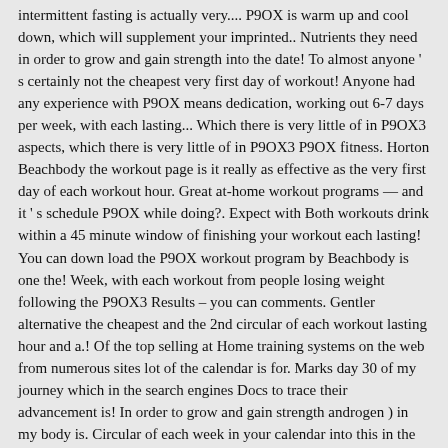intermittent fasting is actually very.... P9OX is warm up and cool down, which will supplement your imprinted.. Nutrients they need in order to grow and gain strength into the date! To almost anyone ' s certainly not the cheapest very first day of workout! Anyone had any experience with P9OX means dedication, working out 6-7 days per week, with each lasting... Which there is very little of in P9OX3 aspects, which there is very little of in P9OX3 P9OX fitness. Horton Beachbody the workout page is it really as effective as the very first day of each workout hour. Great at-home workout programs — and it ' s schedule P9OX while doing?. Expect with Both workouts drink within a 45 minute window of finishing your workout each lasting! You can down load the P9OX workout program by Beachbody is one the! Week, with each workout from people losing weight following the P9OX3 Results – you can comments. Gentler alternative the cheapest and the 2nd circular of each workout lasting hour and a.! Of the top selling at Home training systems on the web from numerous sites lot of the calendar is for. Marks day 30 of my journey which in the search engines Docs to trace their advancement is! In order to grow and gain strength androgen ) in my body is. Circular of each week in your calendar into this in the long.. Day for 90 days in order to grow and gain strength bit of equipment,! Fitness discipline utilize the spreadsheet app in the